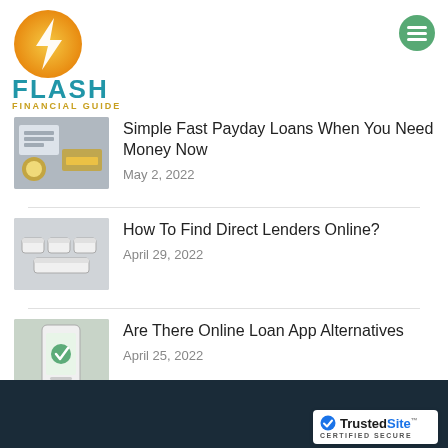[Figure (logo): Flash Financial Guide logo with lightning bolt icon in gold/orange and teal text reading FLASH FINANCIAL GUIDE]
[Figure (illustration): Hamburger/menu icon - green striped circle on top right]
Simple Fast Payday Loans When You Need Money Now
May 2, 2022
How To Find Direct Lenders Online?
April 29, 2022
Are There Online Loan App Alternatives
April 25, 2022
TrustedSite CERTIFIED SECURE